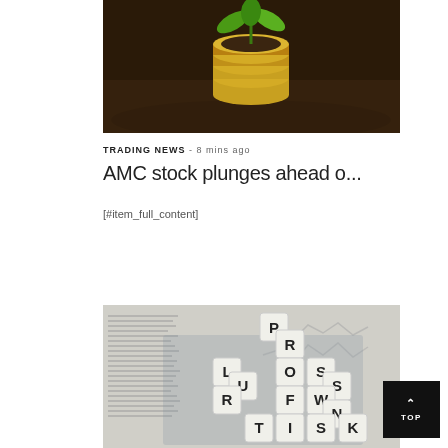[Figure (photo): Stack of gold coins with a green plant seedling growing from top, set in dark soil background]
TRADING NEWS - 8 mins ago
AMC stock plunges ahead o...
[#item_full_content]
[Figure (photo): Scrabble letter tiles arranged to spell PROFIT, LOSS, RISK, OWN on what appears to be a financial newspaper/report background]